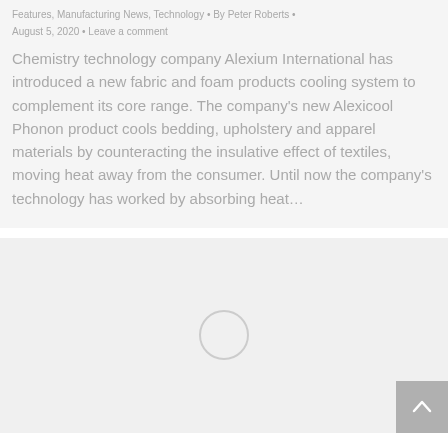Features, Manufacturing News, Technology • By Peter Roberts •
August 5, 2020 • Leave a comment
Chemistry technology company Alexium International has introduced a new fabric and foam products cooling system to complement its core range. The company's new Alexicool Phonon product cools bedding, upholstery and apparel materials by counteracting the insulative effect of textiles, moving heat away from the consumer. Until now the company's technology has worked by absorbing heat…
[Figure (other): Loading placeholder card with a circular loading spinner centered on a light gray background, with a scroll-to-top button in the bottom right corner.]